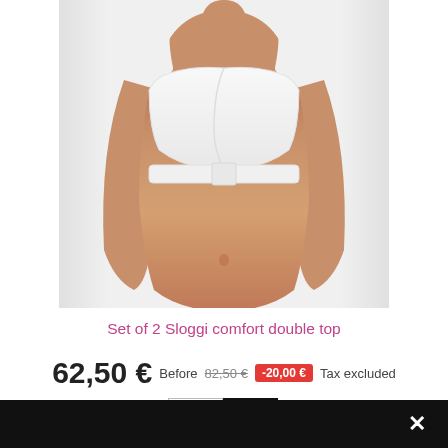[Figure (photo): Model wearing a white Sloggi comfort double top sports bra, cropped from shoulders to hips on a light background]
Set of 2 Sloggi comfort double top
62,50 €  Before 82,50 € -20,00 € Tax excluded
[Figure (other): Color swatches: white and black options for the product]
[Figure (other): Scroll up arrow button (circular)]
✕ close button on black bar